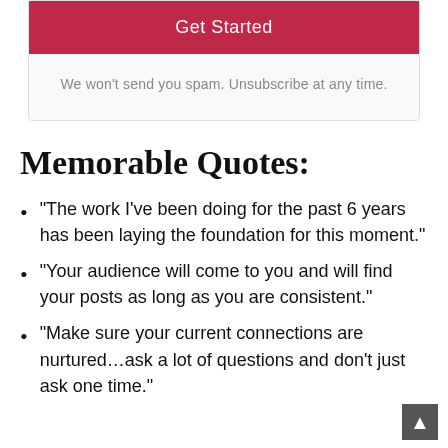[Figure (other): Get Started button — crimson/dark-pink button with white text]
We won't send you spam. Unsubscribe at any time.
Memorable Quotes:
“The work I've been doing for the past 6 years has been laying the foundation for this moment.”
“Your audience will come to you and will find your posts as long as you are consistent.”
“Make sure your current connections are nurtured…ask a lot of questions and don’t just ask one time.”